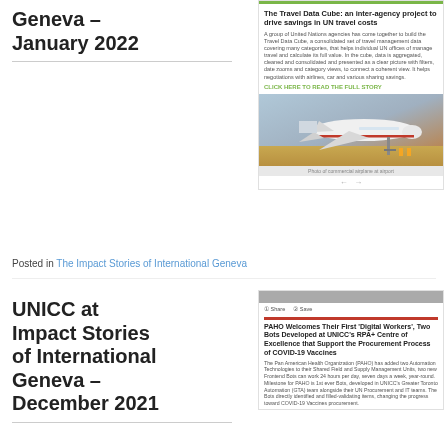Geneva – January 2022
The Travel Data Cube: an inter-agency project to drive savings in UN travel costs
A group of United Nations agencies has come together to build the Travel Data Cube, a consolidated set of travel management data covering many categories, that helps individual UN offices of manage travel and calculate its full value. In the cube, data is aggregated, cleaned and consolidated and presented as a clear picture with filters, date zooms and category views, to present a coherent view. It helps negotiations with airlines, car and various sharing savings.
Click here to read the full story
[Figure (photo): Photo of a commercial airplane on a tarmac with ground crew and air stairs, warm sunset lighting]
Photo of an airplane at airport
Posted in The Impact Stories of International Geneva
UNICC at Impact Stories of International Geneva – December 2021
PAHO Welcomes Their First 'Digital Workers', Two Bots Developed at UNICC's RPA+ Centre of Excellence that Support the Procurement Process of COVID-19 Vaccines
The Pan American Health Organization (PAHO) has added two Automation Technologies to their Shared Field and Supply Management Units, two new Frontend Bots can work 24 hours per day, seven days a week, year-round. Milestone for PAHO is 1st ever Bots, developed in UNICC's Greater Toronto Automation (GTA) team alongside their UN Procurement and IT teams. The Bots directly identified and filled-validating items, changing the progress toward COVID-19 Vaccines procurement.